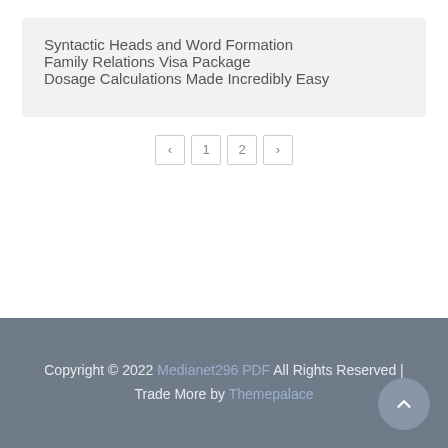Syntactic Heads and Word Formation
Family Relations Visa Package
Dosage Calculations Made Incredibly Easy
Copyright © 2022 Medianet296 PDF All Rights Reserved | Trade More by Themepalace